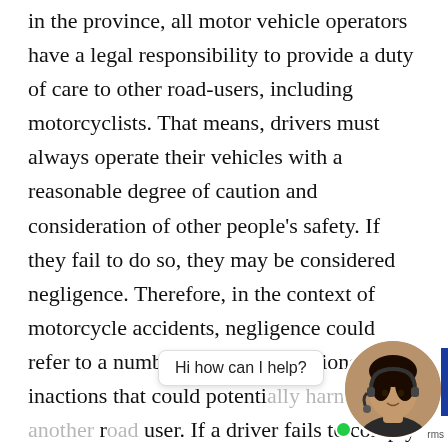in the province, all motor vehicle operators have a legal responsibility to provide a duty of care to other road-users, including motorcyclists. That means, drivers must always operate their vehicles with a reasonable degree of caution and consideration of other people's safety. If they fail to do so, they may be considered negligence. Therefore, in the context of motorcycle accidents, negligence could refer to a number of wrongful actions or inactions that could potentially harm another road user. If a driver fails to comply with traffic regulations, they may be considered
[Figure (other): Chat support widget overlay showing an agent photo in a circle with a speech bubble saying 'Hi how can I help?' and a green online indicator dot, with a blue sidebar on the right edge.]